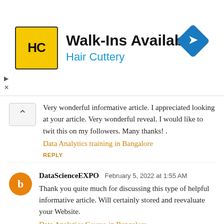[Figure (other): Hair Cuttery advertisement banner with HC logo, 'Walk-Ins Available' heading, 'Hair Cuttery' subtitle in blue, and a blue diamond navigation icon on the right]
Very wonderful informative article. I appreciated looking at your article. Very wonderful reveal. I would like to twit this on my followers. Many thanks! .
Data Analytics training in Bangalore
REPLY
DataScienceEXPO  February 5, 2022 at 1:55 AM
Thank you quite much for discussing this type of helpful informative article. Will certainly stored and reevaluate your Website.
Data Analytics Course in Bangalore
REPLY
Unknown  February 14, 2022 at 12:41 AM
Fantastic article I ought to say and thanks to